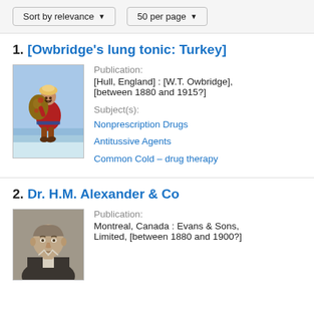Sort by relevance   50 per page
1. [Owbridge's lung tonic: Turkey]
Publication: [Hull, England] : [W.T. Owbridge], [between 1880 and 1915?]
Subject(s): Nonprescription Drugs  Antitussive Agents  Common Cold – drug therapy
[Figure (illustration): Illustration of a Turkish trader figure carrying a large bag on their back, dressed in colorful traditional Ottoman costume, walking.]
2. Dr. H.M. Alexander & Co
Publication: Montreal, Canada : Evans & Sons, Limited, [between 1880 and 1900?]
[Figure (photo): Black and white portrait photograph of an older man.]